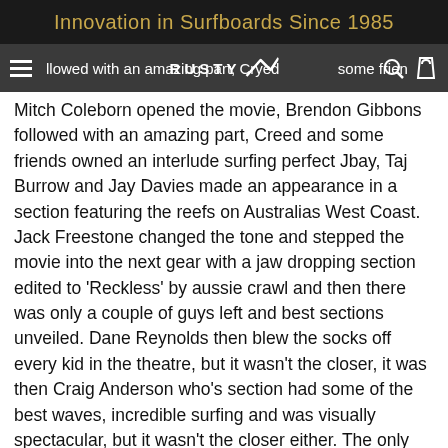Innovation in Surfboards Since 1985
Mitch Coleborn opened the movie, Brendon Gibbons followed with an amazing part, Creed and some friends owned an interlude surfing perfect Jbay, Taj Burrow and Jay Davies made an appearance in a section featuring the reefs on Australias West Coast. Jack Freestone changed the tone and stepped the movie into the next gear with a jaw dropping section edited to 'Reckless' by aussie crawl and then there was only a couple of guys left and best sections unveiled. Dane Reynolds then blew the socks off every kid in the theatre, but it wasn't the closer, it was then Craig Anderson who's section had some of the best waves, incredible surfing and was visually spectacular, but it wasn't the closer either. The only one left was one of the youngest in the cast and one of the clear crowd favorites, NOA DEANE !!!! In true Noa style Courtney Love started to echo through the speakers of the theatre and the crowd started to erupt as Noa's section had every eye in the theater glued to the screen! The kid absolutely